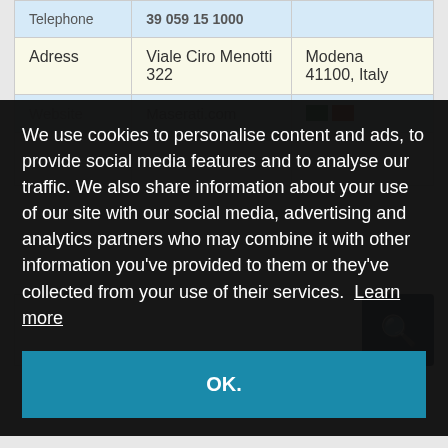|  |  |  |
| --- | --- | --- |
| Telephone | 39 059 15 1000 |  |
| Adress | Viale Ciro Menotti 322 | Modena 41100, Italy |
| Website | Maserati.com | 🇮🇹 |
We use cookies to personalise content and ads, to provide social media features and to analyse our traffic. We also share information about your use of our site with our social media, advertising and analytics partners who may combine it with other information you've provided to them or they've collected from your use of their services. Learn more
OK.